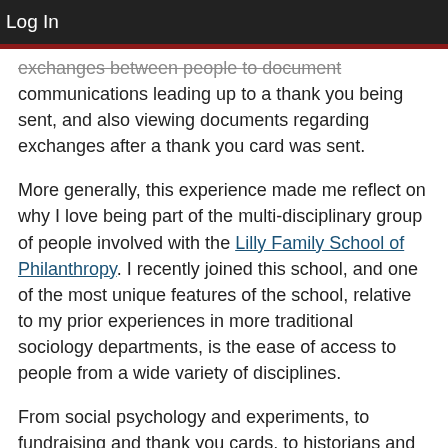Log In
exchanges between people to document communications leading up to a thank you being sent, and also viewing documents regarding exchanges after a thank you card was sent.
More generally, this experience made me reflect on why I love being part of the multi-disciplinary group of people involved with the Lilly Family School of Philanthropy. I recently joined this school, and one of the most unique features of the school, relative to my prior experiences in more traditional sociology departments, is the ease of access to people from a wide variety of disciplines.
From social psychology and experiments, to fundraising and thank you cards, to historians and archival research, all in the span of time it took me to eat my appetizer and